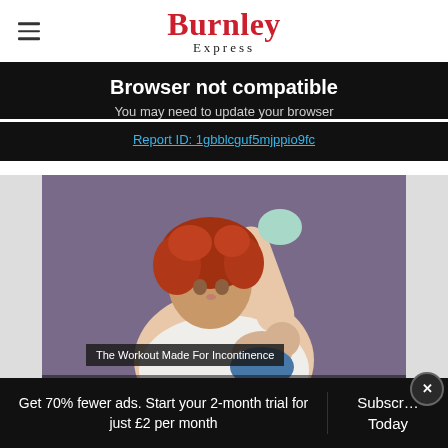Burnley Express
Browser not compatible
You may need to update your browser
Report ID: 1gbblcguf5mjppio9fc
[Figure (photo): Woman with curly red hair holding a baby, raising one hand, against a purple background. Video player interface with caption 'The Workout Made For Incontinence'.]
The Workout Made For Incontinence
Get 70% fewer ads. Start your 2-month trial for just £2 per month
Subscribe Today